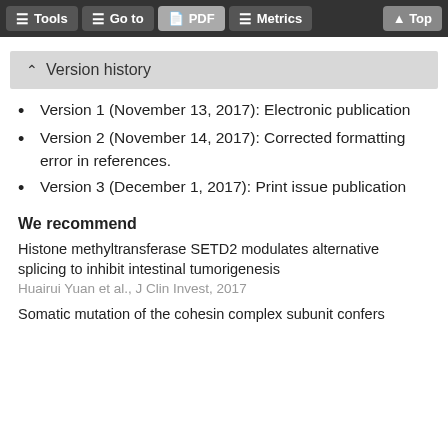Tools  Go to  PDF  Metrics  Top
^ Version history
Version 1 (November 13, 2017): Electronic publication
Version 2 (November 14, 2017): Corrected formatting error in references.
Version 3 (December 1, 2017): Print issue publication
We recommend
Histone methyltransferase SETD2 modulates alternative splicing to inhibit intestinal tumorigenesis
Huairui Yuan et al., J Clin Invest, 2017
Somatic mutation of the cohesin complex subunit confers